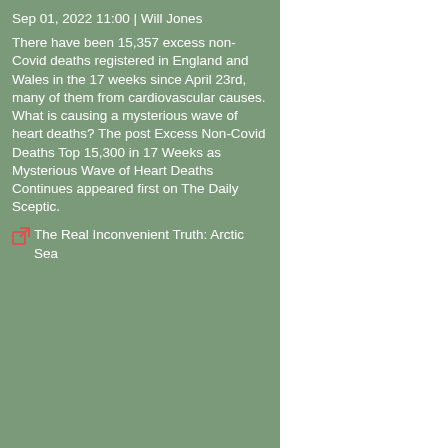Sep 01, 2022 11:00 | Will Jones
There have been 15,357 excess non-Covid deaths registered in England and Wales in the 17 weeks since April 23rd, many of them from cardiovascular causes. What is causing a mysterious wave of heart deaths? The post Excess Non-Covid Deaths Top 15,300 in 17 Weeks as Mysterious Wave of Heart Deaths Continues appeared first on The Daily Sceptic.
The Real Inconvenient Truth: Arctic Sea